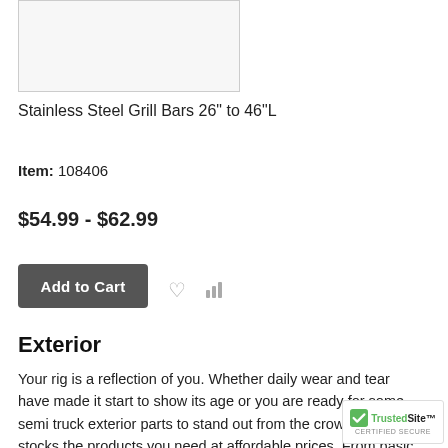[Figure (photo): Product image placeholder for Stainless Steel Grill Bars]
Stainless Steel Grill Bars 26" to 46"L
Item: 108406
$54.99 - $62.99
Add to Cart
Exterior
Your rig is a reflection of you. Whether daily wear and tear have made it start to show its age or you are ready for some semi truck exterior parts to stand out from the crowd, Iowa 80 stocks the products you need at affordable prices. From basic to over the top, we offer many ways to dress up your truck w… drive a Kenworth, Peterbilt, Freightliner, International,